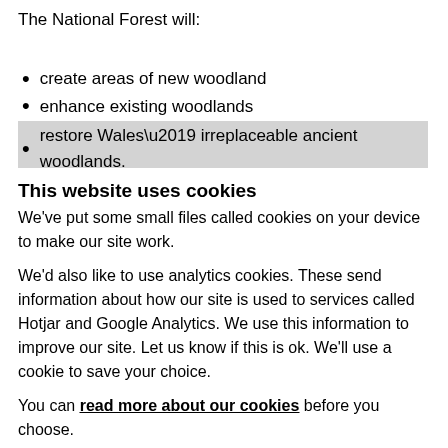The National Forest will:
create areas of new woodland
enhance existing woodlands
restore Wales’ irreplaceable ancient woodlands.
This website uses cookies
We've put some small files called cookies on your device to make our site work.
We’d also like to use analytics cookies. These send information about how our site is used to services called Hotjar and Google Analytics. We use this information to improve our site. Let us know if this is ok. We’ll use a cookie to save your choice.
You can read more about our cookies before you choose.
Allow selection | Allow all cookies
| Necessary | Preferences | Show details |
| --- | --- | --- |
| Statistics | Marketing |  |